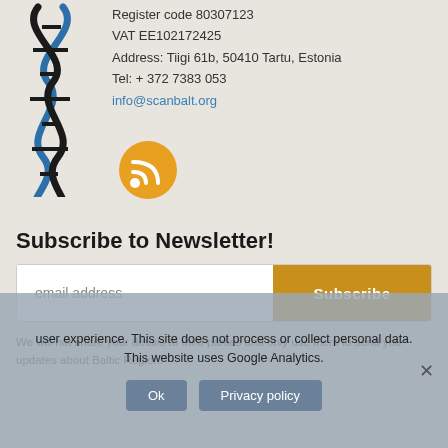[Figure (logo): DNA double helix logo in blue and black]
Register code 80307123
VAT EE102172425
Address: Tiigi 61b, 50410 Tartu, Estonia
Tel: + 372 7383 053
info@scanbalt.org
[Figure (other): Orange RSS feed icon button]
Subscribe to Newsletter!
email address
Subscribe
We will not share your details to third parties and only use them to send you updates about Baltic Region.
user experience. This site does not process or collect personal data. This website uses Google Analytics.
Ok
Privacy policy